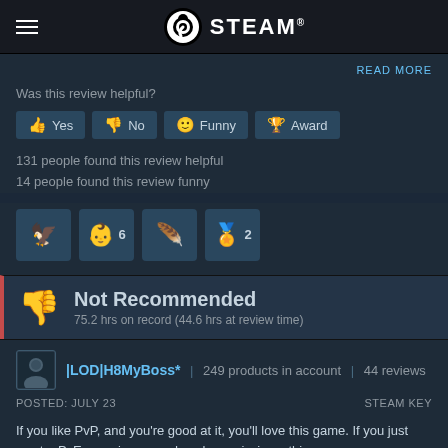STEAM
READ MORE
Was this review helpful?
Yes | No | Funny | Award
131 people found this review helpful
14 people found this review funny
[Figure (other): Row of Steam award icons: a bird icon, a baby face icon with number 6, a feather/wing icon, and a trophy/award icon with number 2]
Not Recommended
75.2 hrs on record (44.6 hrs at review time)
|LOD|H8MyBoss* | 249 products in account | 44 reviews
POSTED: JULY 23
STEAM KEY
If you like PvP, and you're good at it, you'll love this game. If you just want a PvE experience, and work on missions, this